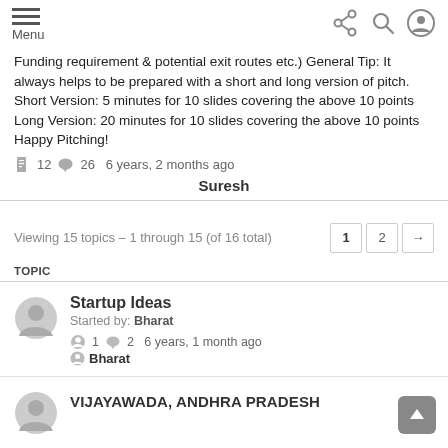Menu
Funding requirement & potential exit routes etc.) General Tip: It always helps to be prepared with a short and long version of pitch. Short Version: 5 minutes for 10 slides covering the above 10 points Long Version: 20 minutes for 10 slides covering the above 10 points Happy Pitching!
12  26  6 years, 2 months ago
Suresh
Viewing 15 topics - 1 through 15 (of 16 total)
TOPIC
Startup Ideas
Started by: Bharat
1  2  6 years, 1 month ago  Bharat
VIJAYAWADA, ANDHRA PRADESH